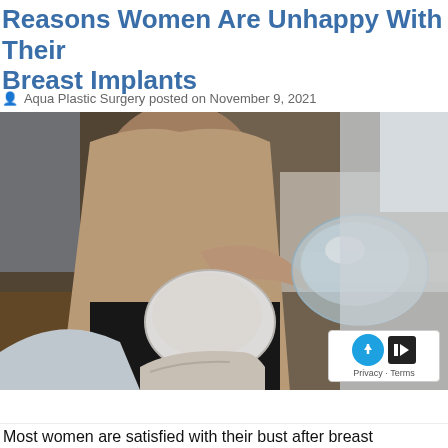Reasons Women Are Unhappy With Their Breast Implants
Aqua Plastic Surgery posted on November 9, 2021
[Figure (photo): A woman sitting across from a doctor, both holding silicone breast implants — one round and opaque white, one clear/gel — for comparison during a consultation.]
Most women are satisfied with their bust after breast